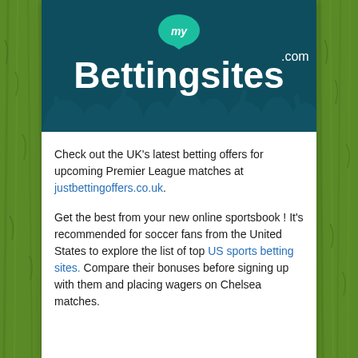[Figure (logo): myBettingsites.com logo on dark teal background with crowd silhouettes]
Check out the UK's latest betting offers for upcoming Premier League matches at justbettingoffers.co.uk.
Get the best from your new online sportsbook ! It's recommended for soccer fans from the United States to explore the list of top US sports betting sites. Compare their bonuses before signing up with them and placing wagers on Chelsea matches.